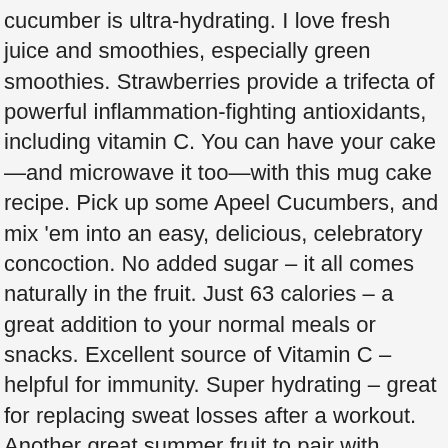cucumber is ultra-hydrating. I love fresh juice and smoothies, especially green smoothies. Strawberries provide a trifecta of powerful inflammation-fighting antioxidants, including vitamin C. You can have your cake—and microwave it too—with this mug cake recipe. Pick up some Apeel Cucumbers, and mix 'em into an easy, delicious, celebratory concoction. No added sugar – it all comes naturally in the fruit. Just 63 calories – a great addition to your normal meals or snacks. Excellent source of Vitamin C – helpful for immunity. Super hydrating – great for replacing sweat losses after a workout. Another great summer fruit to pair with watermelon. Is Watermelon Fattening? 1 55+ Easy Dinner Recipes for Busy Weeknights Everybody understands the stuggle of getting dinner on the table after a long day. I sometimes add a small avocado to make it extra creamy.—Crystal Schlueter, Babbitt, Minnesota This is because the cucumber has a natural nutrient content that can launch the … https://spoonuniversity.com/recipe/watermelon-cucumber-smoothie Cover; process until blended. An added benefit: creamy butter with lots of...